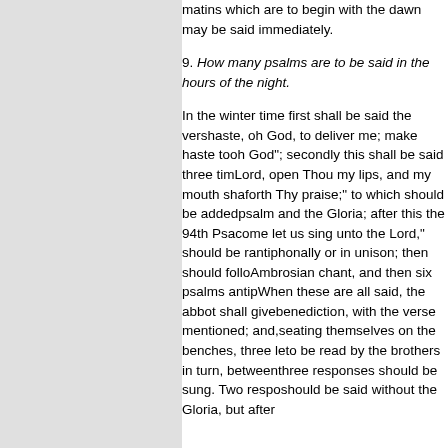matins which are to begin with the dawn may be said immediately.
9. How many psalms are to be said in the hours of the night.
In the winter time first shall be said the verse, make haste, oh God, to deliver me; make haste to help me, oh God"; secondly this shall be said three times: "O Lord, open Thou my lips, and my mouth shall show forth Thy praise;" to which should be added the 3rd psalm and the Gloria; after this the 94th Psalm "O come let us sing unto the Lord," should be recited antiphonally or in unison; then should follow an Ambrosian chant, and then six psalms antiphonally. When these are all said, the abbot shall give a benediction, with the verse mentioned; and, all seating themselves on the benches, three lessons are to be read by the brothers in turn, between which three responses should be sung. Two responses should be said without the Gloria, but after